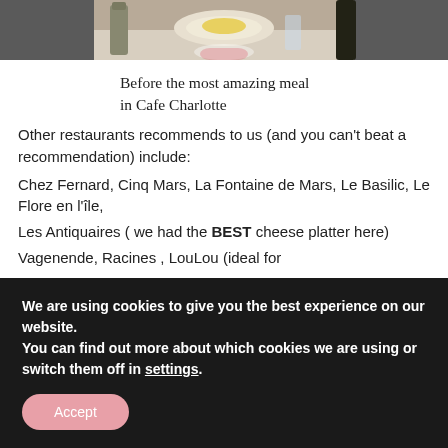[Figure (photo): Cropped photo showing food and bottles on a table, partial view from above]
Before the most amazing meal in Cafe Charlotte
Other restaurants recommends to us (and you can't beat a recommendation) include:
Chez Fernard, Cinq Mars, La Fontaine de Mars, Le Basilic, Le Flore en l'île,
Les Antiquaires ( we had the BEST cheese platter here)
Vagenende, Racines , LouLou (ideal for
We are using cookies to give you the best experience on our website.
You can find out more about which cookies we are using or switch them off in settings.